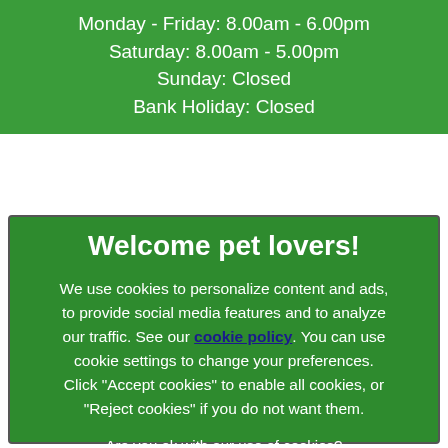Monday - Friday: 8.00am - 6.00pm
Saturday: 8.00am - 5.00pm
Sunday: Closed
Bank Holiday: Closed
Welcome pet lovers!
We use cookies to personalize content and ads, to provide social media features and to analyze our traffic. See our cookie policy. You can use cookie settings to change your preferences. Click "Accept cookies" to enable all cookies, or "Reject cookies" if you do not want them.
Are you ok with our use of cookies?
Cookie Settings
✓  Accept Cookies